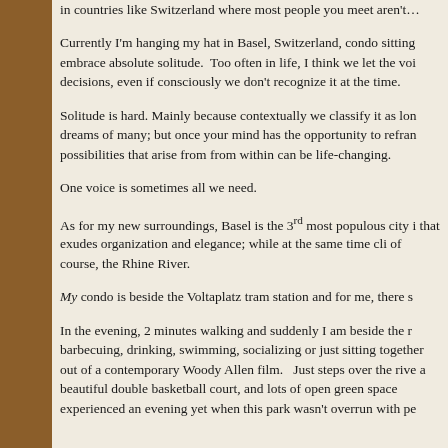in countries like Switzerland where most people you meet aren't…
Currently I'm hanging my hat in Basel, Switzerland, condo sitting … embrace absolute solitude.  Too often in life, I think we let the voi… decisions, even if consciously we don't recognize it at the time.
Solitude is hard. Mainly because contextually we classify it as lon… dreams of many; but once your mind has the opportunity to refra… possibilities that arise from from within can be life-changing.
One voice is sometimes all we need.
As for my new surroundings, Basel is the 3rd most populous city i… that exudes organization and elegance; while at the same time cli… of course, the Rhine River.
My condo is beside the Voltaplatz tram station and for me, there s…
In the evening, 2 minutes walking and suddenly I am beside the r… barbecuing, drinking, swimming, socializing or just sitting together… out of a contemporary Woody Allen film.   Just steps over the rive… a beautiful double basketball court, and lots of open green space… experienced an evening yet when this park wasn't overrun with pe…